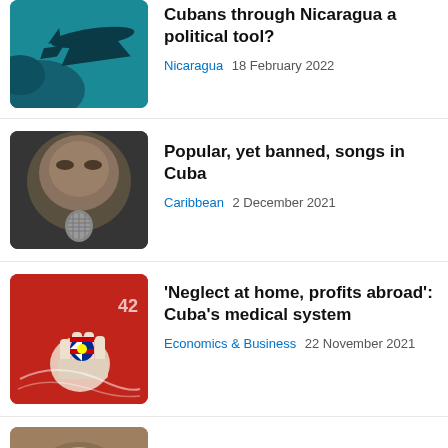[Figure (photo): Airplane silhouette on teal/dark blue sky background]
Cubans through Nicaragua a political tool?
Nicaragua  18 February 2022
[Figure (photo): Close-up of a man singing into a microphone]
Popular, yet banned, songs in Cuba
Caribbean  2 December 2021
[Figure (photo): Red background with Cuban flag fist illustration]
'Neglect at home, profits abroad': Cuba's medical system
Economics & Business  22 November 2021
[Figure (photo): Partial thumbnail of a person, cut off at bottom of page]